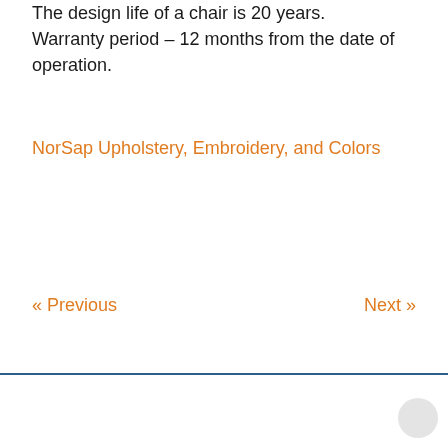The design life of a chair is 20 years. Warranty period – 12 months from the date of operation.
NorSap Upholstery, Embroidery, and Colors
« Previous
Next »